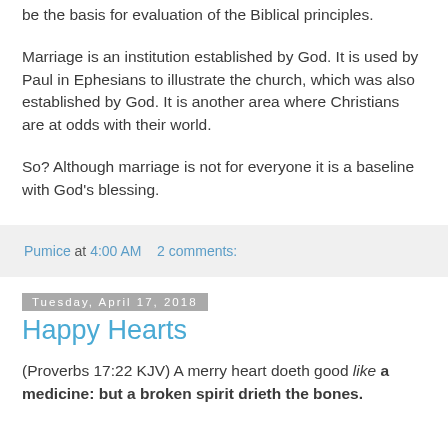be the basis for evaluation of the Biblical principles.
Marriage is an institution established by God.  It is used by Paul in Ephesians to illustrate the church, which was also established by God.  It is another area where Christians are at odds with their world.
So?  Although marriage is not for everyone it is a baseline with God's blessing.
Pumice at 4:00 AM    2 comments:
Tuesday, April 17, 2018
Happy Hearts
(Proverbs 17:22 KJV)  A merry heart doeth good like a medicine: but a broken spirit drieth the bones.